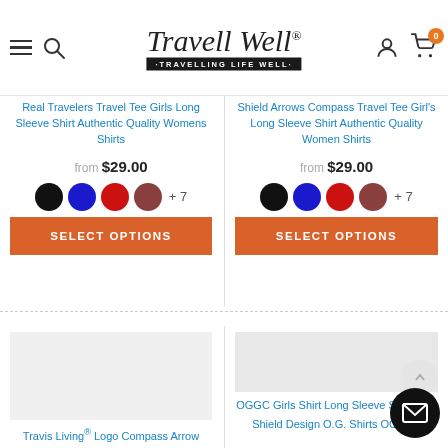Travell Well - TRAVELLING LIFE WELL
Real Travelers Travel Tee Girls Long Sleeve Shirt Authentic Quality Womens Shirts
from $29.00
SELECT OPTIONS
Shield Arrows Compass Travel Tee Girl's Long Sleeve Shirt Authentic Quality Women Shirts
from $29.00
SELECT OPTIONS
Travis Living® Logo Compass Arrow Travel Tee Girls Long Sleeve
OGGC Girls Shirt Long Sleeve Shirts OG Shield Design O.G. Shirts OGGC®